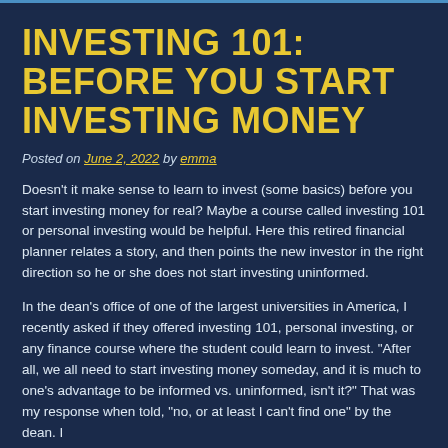INVESTING 101: BEFORE YOU START INVESTING MONEY
Posted on June 2, 2022 by emma
Doesn't it make sense to learn to invest (some basics) before you start investing money for real? Maybe a course called investing 101 or personal investing would be helpful. Here this retired financial planner relates a story, and then points the new investor in the right direction so he or she does not start investing uninformed.
In the dean's office of one of the largest universities in America, I recently asked if they offered investing 101, personal investing, or any finance course where the student could learn to invest. "After all, we all need to start investing money someday, and it is much to one's advantage to be informed vs. uninformed, isn't it?" That was my response when told, "no, or at least I can't find one" by the dean. I